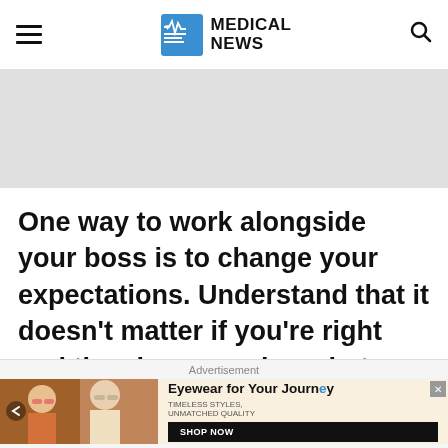MEDICAL NEWS
[Figure (other): Gray advertisement placeholder banner]
One way to work alongside your boss is to change your expectations. Understand that it doesn't matter if you're right and they have no clue what they are talking about, they will still need to hear that
[Figure (infographic): Advertisement: Eyewear for Your Journey - Timeless Styles, Unmatched Quality - Shop Now button, showing two women wearing sunglasses]